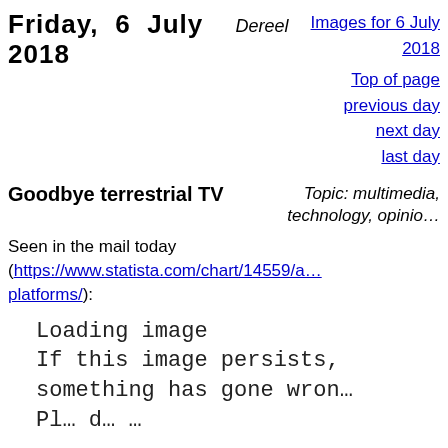Friday, 6 July 2018
Dereel
Images for 6 July 2018
Top of page
previous day
next day
last day
Goodbye terrestrial TV
Topic: multimedia, technology, opinio…
Seen in the mail today (https://www.statista.com/chart/14559/… platforms/):
[Figure (screenshot): Loading image placeholder text: 'Loading image / If this image persists, / something has gone wron… / Pl… d… …']